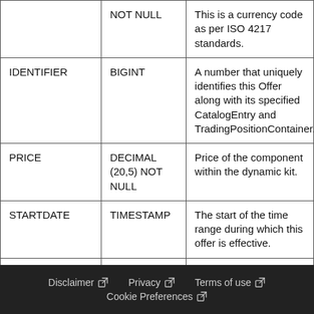| Column | Type | Description |
| --- | --- | --- |
|  | NOT NULL | This is a currency code as per ISO 4217 standards. |
| IDENTIFIER | BIGINT | A number that uniquely identifies this Offer along with its specified CatalogEntry and TradingPositionContainer. |
| PRICE | DECIMAL (20,5) NOT NULL | Price of the component within the dynamic kit. |
| STARTDATE | TIMESTAMP | The start of the time range during which this offer is effective. |
| ENDDATE | TIMESTAMP | The end of the time range |
Disclaimer  Privacy  Terms of use  Cookie Preferences